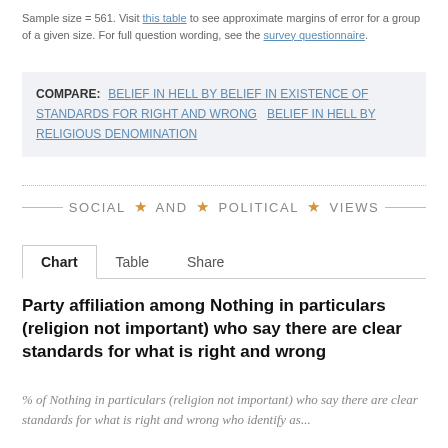Sample size = 561. Visit this table to see approximate margins of error for a group of a given size. For full question wording, see the survey questionnaire.
COMPARE: BELIEF IN HELL BY BELIEF IN EXISTENCE OF STANDARDS FOR RIGHT AND WRONG  BELIEF IN HELL BY RELIGIOUS DENOMINATION
SOCIAL ★ AND ★ POLITICAL ★ VIEWS
Chart  Table  Share
Party affiliation among Nothing in particulars (religion not important) who say there are clear standards for what is right and wrong
% of Nothing in particulars (religion not important) who say there are clear standards for what is right and wrong who identify as...